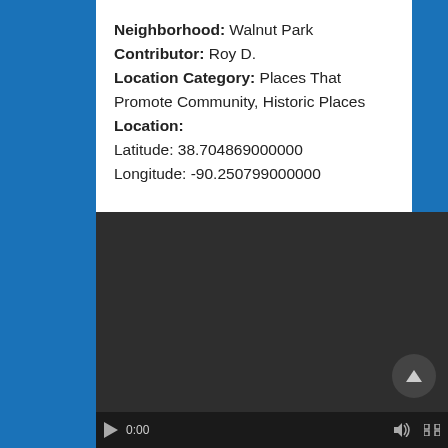Neighborhood: Walnut Park
Contributor: Roy D.
Location Category: Places That Promote Community, Historic Places
Location:
Latitude: 38.704869000000
Longitude: -90.250799000000
[Figure (screenshot): Dark video player panel with playback controls at the bottom including a play button, 0:00 time display, volume icon, and fullscreen icon. An up-arrow button appears above the controls on the right side.]